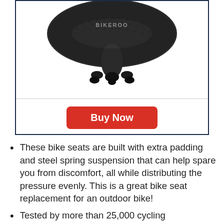[Figure (photo): Bikeroo brand bike seat viewed from above/front, dark gray with rubber feet/rails visible, on white background]
Buy Now
These bike seats are built with extra padding and steel spring suspension that can help spare you from discomfort, all while distributing the pressure evenly. This is a great bike seat replacement for an outdoor bike!
Tested by more than 25,000 cycling